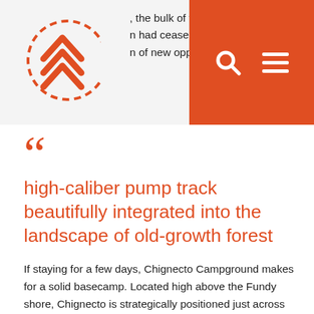, the bulk of the economic activity had ceased with many leaving th n of new opportunities in the gro
[Figure (logo): Triangular mountain/waves logo with dashed circle outline in orange]
[Figure (other): Orange navigation bar with search icon and hamburger menu icon]
““ high-caliber pump track beautifully integrated into the landscape of old-growth forest
If staying for a few days, Chignecto Campground makes for a solid basecamp. Located high above the Fundy shore, Chignecto is strategically positioned just across the road from several